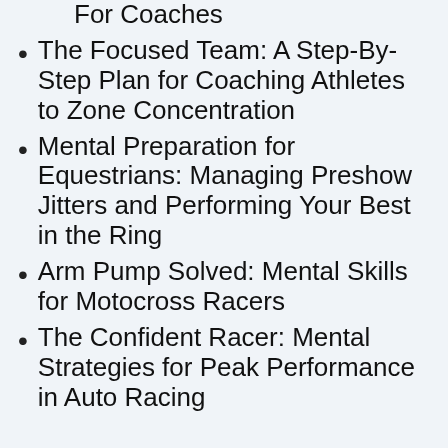For Coaches
The Focused Team: A Step-By-Step Plan for Coaching Athletes to Zone Concentration
Mental Preparation for Equestrians: Managing Preshow Jitters and Performing Your Best in the Ring
Arm Pump Solved: Mental Skills for Motocross Racers
The Confident Racer: Mental Strategies for Peak Performance in Auto Racing